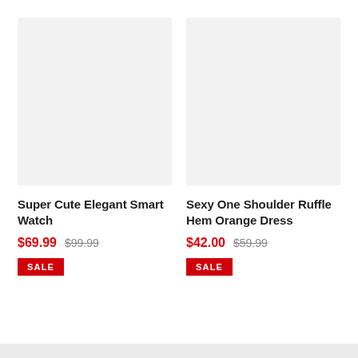[Figure (photo): Product image placeholder for Super Cute Elegant Smart Watch — light gray rectangle]
Super Cute Elegant Smart Watch
$69.99  $99.99
SALE
[Figure (photo): Product image placeholder for Sexy One Shoulder Ruffle Hem Orange Dress — light gray rectangle]
Sexy One Shoulder Ruffle Hem Orange Dress
$42.00  $59.99
SALE